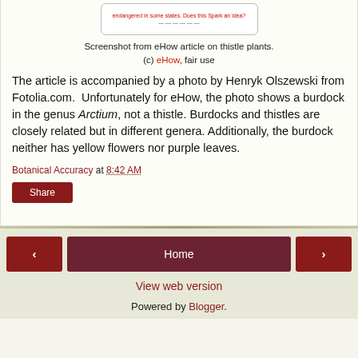[Figure (screenshot): Screenshot from eHow article on thistle plants, showing partial text and a red link]
Screenshot from eHow article on thistle plants.
(c) eHow, fair use
The article is accompanied by a photo by Henryk Olszewski from Fotolia.com. Unfortunately for eHow, the photo shows a burdock in the genus Arctium, not a thistle. Burdocks and thistles are closely related but in different genera. Additionally, the burdock neither has yellow flowers nor purple leaves.
Botanical Accuracy at 8:42 AM
Share
Home | View web version | Powered by Blogger.